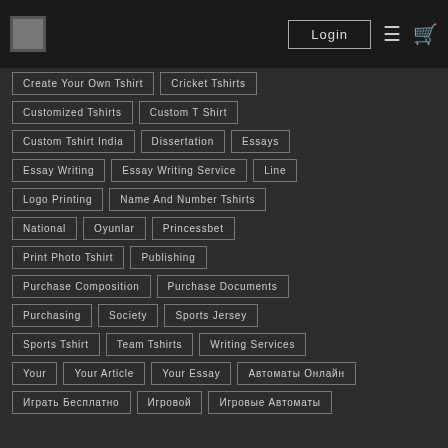Login
Create Your Own Tshirt
Cricket Tshirts
Customized Tshirts
Custom T Shirt
Custom Tshirt India
Dissertation
Essays
Essay Writing
Essay Writing Service
Line
Logo Printing
Name And Number Tshirts
National
Oyunlar
Princessbet
Print Photo Tshirt
Publishing
Purchase Composition
Purchase Documents
Purchasing
Society
Sports Jersey
Sports Tshirt
Team Tshirts
Writing Services
Your
Your Article
Your Essay
Автоматы Онлайн
Играть Бесплатно
Игровой
Игровые Автоматы